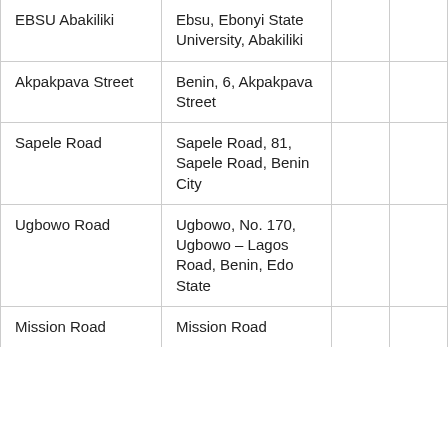| EBSU Abakiliki | Ebsu, Ebonyi State University, Abakiliki |  |  |
| Akpakpava Street | Benin, 6, Akpakpava Street |  |  |
| Sapele Road | Sapele Road, 81, Sapele Road, Benin City |  |  |
| Ugbowo Road | Ugbowo, No. 170, Ugbowo – Lagos Road, Benin, Edo State |  |  |
| Mission Road | Mission Road |  |  |